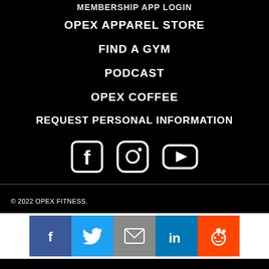MEMBERSHIP APP LOGIN
OPEX APPAREL STORE
FIND A GYM
PODCAST
OPEX COFFEE
REQUEST PERSONAL INFORMATION
[Figure (illustration): Social media icons row: Facebook, Instagram, YouTube in white on black background]
© 2022 OPEX FITNESS.
[Figure (illustration): Share bar with colored social media buttons: Facebook (blue), Twitter (light blue), Email (grey), LinkedIn (dark blue), Reddit (orange)]